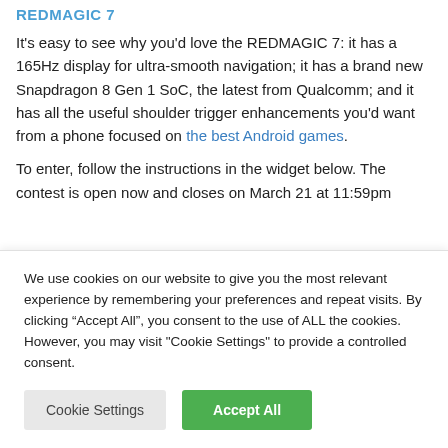REDMAGIC 7
It's easy to see why you'd love the REDMAGIC 7: it has a 165Hz display for ultra-smooth navigation; it has a brand new Snapdragon 8 Gen 1 SoC, the latest from Qualcomm; and it has all the useful shoulder trigger enhancements you'd want from a phone focused on the best Android games.
To enter, follow the instructions in the widget below. The contest is open now and closes on March 21 at 11:59pm
We use cookies on our website to give you the most relevant experience by remembering your preferences and repeat visits. By clicking “Accept All”, you consent to the use of ALL the cookies. However, you may visit "Cookie Settings" to provide a controlled consent.